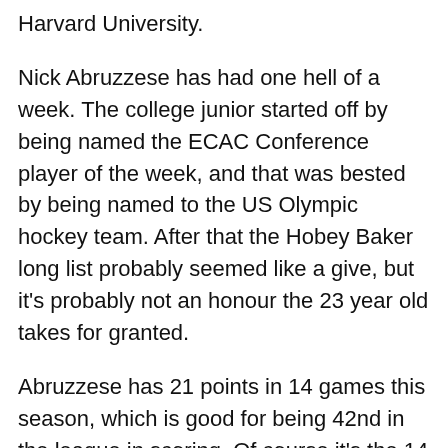Harvard University.
Nick Abruzzese has had one hell of a week. The college junior started off by being named the ECAC Conference player of the week, and that was bested by being named to the US Olympic hockey team. After that the Hobey Baker long list probably seemed like a give, but it’s probably not an honour the 23 year old takes for granted.
Abruzzese has 21 points in 14 games this season, which is good for being 42nd in the league in scoring. Of course it’s the 14 games that makes that most impressive, and when you look at points per game, Nick’s 1.5ppg puts him as the top player in the country. That certainly makes him a strong contender for at least the next round of